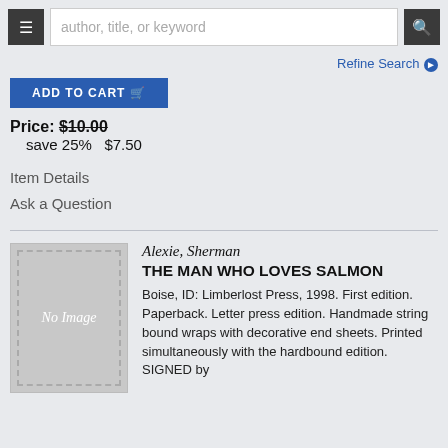author, title, or keyword
Refine Search
ADD TO CART
Price: $10.00 save 25% $7.50
Item Details
Ask a Question
[Figure (other): No Image placeholder for book cover]
Alexie, Sherman
THE MAN WHO LOVES SALMON
Boise, ID: Limberlost Press, 1998. First edition. Paperback. Letter press edition. Handmade string bound wraps with decorative end sheets. Printed simultaneously with the hardbound edition. SIGNED by